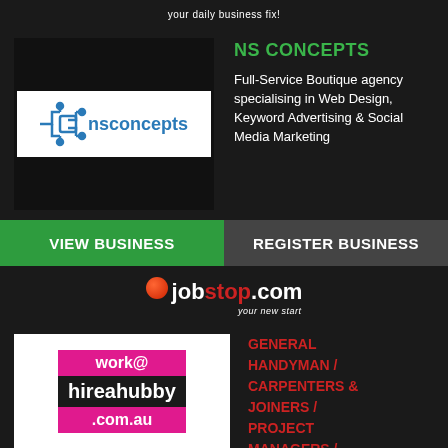your daily business fix!
NS CONCEPTS
[Figure (logo): nsconcepts logo with circuit-style lettering in blue]
Full-Service Boutique agency specialising in Web Design, Keyword Advertising & Social Media Marketing
VIEW BUSINESS
REGISTER BUSINESS
[Figure (logo): jobstop.com logo with red ball and tagline 'your new start']
[Figure (logo): work@hireahubby.com.au logo with pink and dark background]
GENERAL HANDYMAN / CARPENTERS & JOINERS / PROJECT MANAGERS / QUOTING &